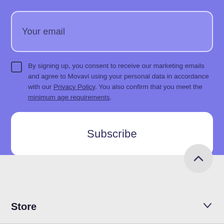Your email
By signing up, you consent to receive our marketing emails and agree to Movavi using your personal data in accordance with our Privacy Policy. You also confirm that you meet the minimum age requirements.
Subscribe
Store